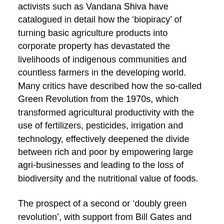activists such as Vandana Shiva have catalogued in detail how the 'biopiracy' of turning basic agriculture products into corporate property has devastated the livelihoods of indigenous communities and countless farmers in the developing world.  Many critics have described how the so-called Green Revolution from the 1970s, which transformed agricultural productivity with the use of fertilizers, pesticides, irrigation and technology, effectively deepened the divide between rich and poor by empowering large agri-businesses and leading to the loss of biodiversity and the nutritional value of foods.
The prospect of a second or 'doubly green revolution', with support from Bill Gates and the Rockefeller Foundation to develop genetically-modified (GM) crop technology initiatives in Africa, is expected to further increase transnational corporate power through agricultural privatization, thereby embedding the poverty of African rural farmers who are already devastated after three decades of neoliberal structural reforms.  In India, the country with the highest number of